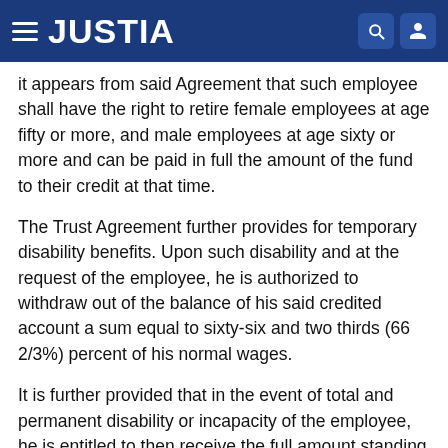JUSTIA
it appears from said Agreement that such employee shall have the right to retire female employees at age fifty or more, and male employees at age sixty or more and can be paid in full the amount of the fund to their credit at that time.
The Trust Agreement further provides for temporary disability benefits. Upon such disability and at the request of the employee, he is authorized to withdraw out of the balance of his said credited account a sum equal to sixty-six and two thirds (66 2/3%) percent of his normal wages.
It is further provided that in the event of total and permanent disability or incapacity of the employee, he is entitled to then receive the full amount standing to his credit in the Fund.